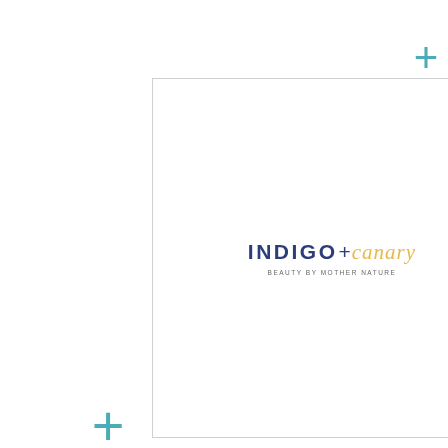[Figure (logo): Indigo + Canary logo card with teal plus signs decorating corners. Logo shows 'INDIGO+canary' with tagline 'BEAUTY BY MOTHER NATURE']
Indigo + Canary
[Figure (logo): Truth in Aging .com logo card with teal plus signs decorating corners. Logo shows 'truth in aging .com' in purple and orange italic bold text]